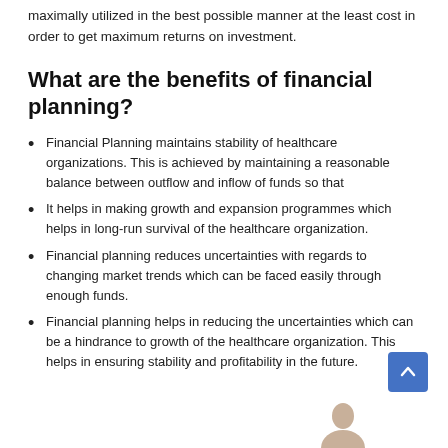maximally utilized in the best possible manner at the least cost in order to get maximum returns on investment.
What are the benefits of financial planning?
Financial Planning maintains stability of healthcare organizations. This is achieved by maintaining a reasonable balance between outflow and inflow of funds so that
It helps in making growth and expansion programmes which helps in long-run survival of the healthcare organization.
Financial planning reduces uncertainties with regards to changing market trends which can be faced easily through enough funds.
Financial planning helps in reducing the uncertainties which can be a hindrance to growth of the healthcare organization. This helps in ensuring stability and profitability in the future.